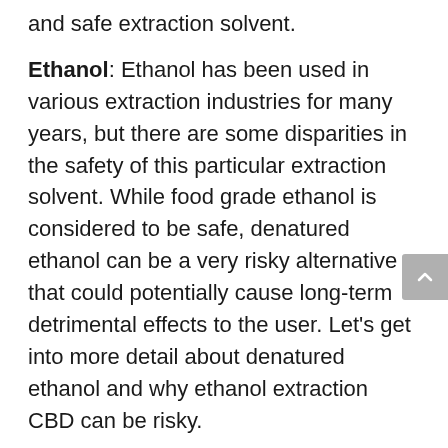and safe extraction solvent.
Ethanol: Ethanol has been used in various extraction industries for many years, but there are some disparities in the safety of this particular extraction solvent. While food grade ethanol is considered to be safe, denatured ethanol can be a very risky alternative that could potentially cause long-term detrimental effects to the user. Let's get into more detail about denatured ethanol and why ethanol extraction CBD can be risky.
Why Denatured Ethanol Extraction?
What is most concerning about ethanol extraction CBD products is not necessarily that it was extracted with ethanol, but what kind of ethanol is used. In order to use ethanol as a cleaning or industrial product, chemicals called